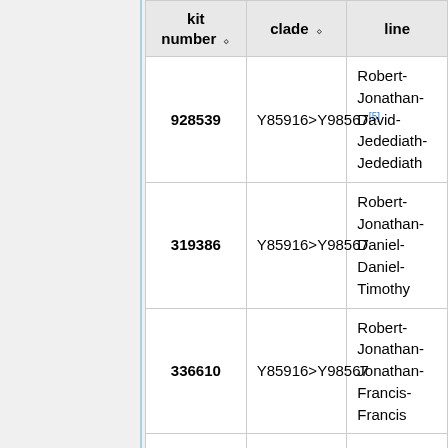| kit number | clade | line |
| --- | --- | --- |
| 928539 | Y85916>Y98567[5] | Robert-Jonathan-David-Jedediath-Jedediath |
| 319386 | Y85916>Y98567 | Robert-Jonathan-Daniel-Daniel-Timothy |
| 336610 | Y85916>Y98567 | Robert-Jonathan-Jonathan-Francis-Francis |
|  |  |  |